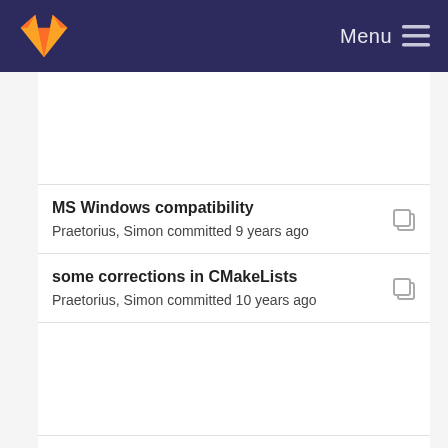GitLab — Menu
MS Windows compatibility
Praetorius, Simon committed 9 years ago
some corrections in CMakeLists
Praetorius, Simon committed 10 years ago
order of libraries changed
Praetorius, Simon committed 10 years ago
some corrections in CMakeLists
Praetorius, Simon committed 10 years ago